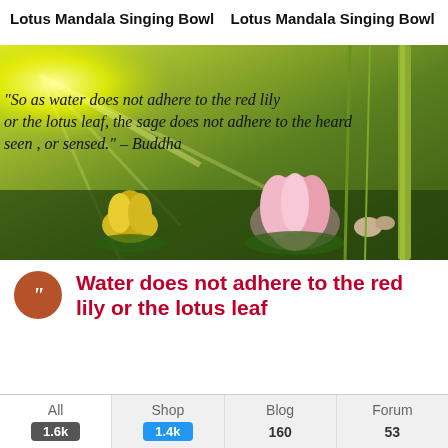Lotus Mandala Singing Bowl
Lotus Mandala Singing Bowl
[Figure (photo): Banner image with lotus flowers floating on water, bamboo reeds, sunlight rays, and an overlaid cursive quote: "So as water does not adhere to the red lily or the lotus leaf, the sage does not adhere to the heard, seen, or sensed." – Buddha]
Water does not adhere to the red lily or the lotus leaf
All — 1.6k
Shop — 1.4k
Blog — 160
Forum — 53